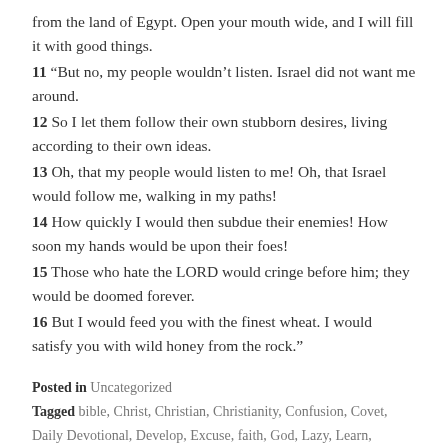from the land of Egypt. Open your mouth wide, and I will fill it with good things.
11 “But no, my people wouldn’t listen. Israel did not want me around.
12 So I let them follow their own stubborn desires, living according to their own ideas.
13 Oh, that my people would listen to me! Oh, that Israel would follow me, walking in my paths!
14 How quickly I would then subdue their enemies! How soon my hands would be upon their foes!
15 Those who hate the LORD would cringe before him; they would be doomed forever.
16 But I would feed you with the finest wheat. I would satisfy you with wild honey from the rock.”
Posted in Uncategorized
Tagged bible, Christ, Christian, Christianity, Confusion, Covet, Daily Devotional, Develop, Excuse, faith, God, Lazy, Learn,